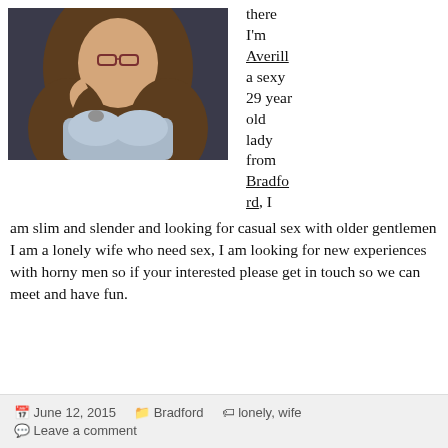[Figure (photo): A young woman with glasses and long brown hair, wearing a light blue bra, posing for a selfie-style photo indoors.]
there I'm Averill a sexy 29 year old lady from Bradford, I am slim and slender and looking for casual sex with older gentlemen I am a lonely wife who need sex, I am looking for new experiences with horny men so if your interested please get in touch so we can meet and have fun.
June 12, 2015   Bradford   lonely, wife   Leave a comment